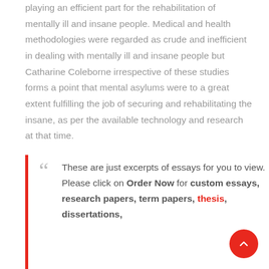playing an efficient part for the rehabilitation of mentally ill and insane people. Medical and health methodologies were regarded as crude and inefficient in dealing with mentally ill and insane people but Catharine Coleborne irrespective of these studies forms a point that mental asylums were to a great extent fulfilling the job of securing and rehabilitating the insane, as per the available technology and research at that time.
These are just excerpts of essays for you to view. Please click on Order Now for custom essays, research papers, term papers, thesis, dissertations,